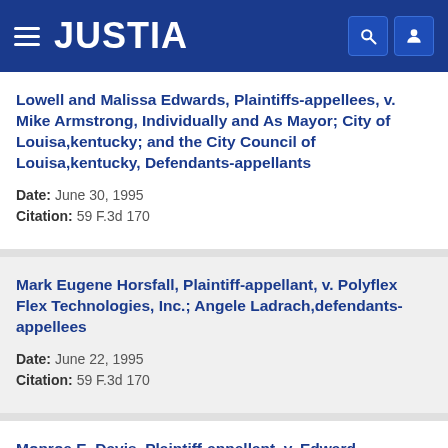JUSTIA
Lowell and Malissa Edwards, Plaintiffs-appellees, v. Mike Armstrong, Individually and As Mayor; City of Louisa,kentucky; and the City Council of Louisa,kentucky, Defendants-appellants
Date: June 30, 1995
Citation: 59 F.3d 170
Mark Eugene Horsfall, Plaintiff-appellant, v. Polyflex Flex Technologies, Inc.; Angele Ladrach,defendants-appellees
Date: June 22, 1995
Citation: 59 F.3d 170
Monroe E. Davis, Plaintiff-appellant, v. Edward